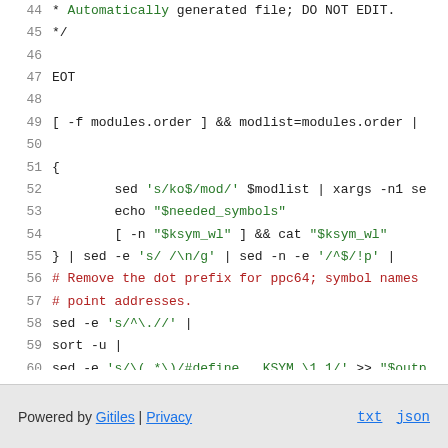44  * Automatically generated file; DO NOT EDIT.
45  */
46
47  EOT
48
49  [ -f modules.order ] && modlist=modules.order |
50
51  {
52        sed 's/ko$/mod/' $modlist | xargs -n1 se
53        echo "$needed_symbols"
54        [ -n "$ksym_wl" ] && cat "$ksym_wl"
55  } | sed -e 's/ /\n/g' | sed -n -e '/^$/!p' |
56  # Remove the dot prefix for ppc64; symbol names
57  # point addresses.
58  sed -e 's/^\.//' |
59  sort -u |
60  sed -e 's/\(.*\)/#define __KSYM_\1 1/' >> "$outp
Powered by Gitiles | Privacy    txt  json